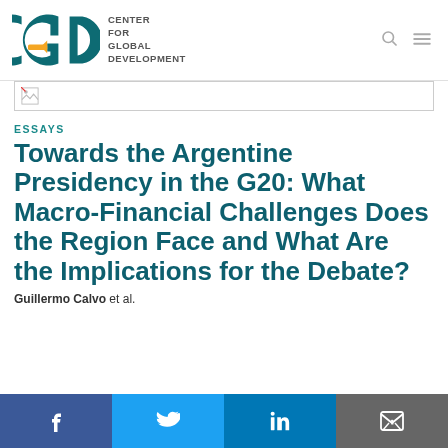[Figure (logo): CGD Center for Global Development logo with teal CGD letters and yellow arrow, plus search and menu icons in nav bar]
[Figure (other): Broken image placeholder in a bordered box]
ESSAYS
Towards the Argentine Presidency in the G20: What Macro-Financial Challenges Does the Region Face and What Are the Implications for the Debate?
Guillermo Calvo et al.
[Figure (infographic): Social sharing bar with Facebook, Twitter, LinkedIn, and email/envelope icons]